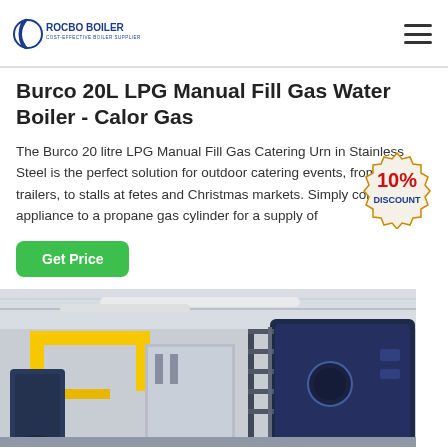ROCBO BOILER – COST-EFFECTIVE BOILER SUPPLIER
Burco 20L LPG Manual Fill Gas Water Boiler - Calor Gas
The Burco 20 litre LPG Manual Fill Gas Catering Urn in Stainless Steel is the perfect solution for outdoor catering events, from food trailers, to stalls at fetes and Christmas markets. Simply connect the appliance to a propane gas cylinder for a supply of
[Figure (other): 10% DISCOUNT badge/sticker overlay on top right of text]
Get Price
[Figure (photo): Industrial boiler facility showing yellow gas pipes, large dark blue cylindrical boilers, staircases, and industrial equipment inside a warehouse]